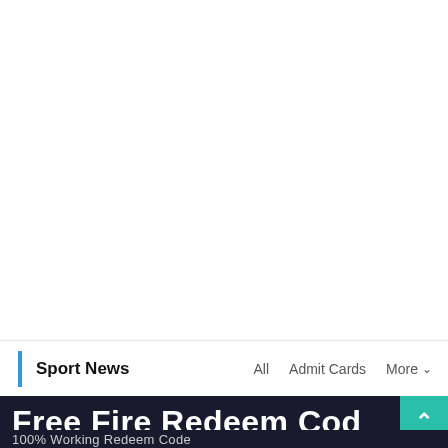Sport News
Free Fire Redeem Cod
100% Working Redeem Code